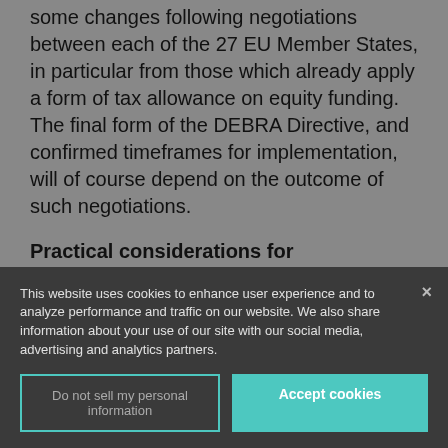some changes following negotiations between each of the 27 EU Member States, in particular from those which already apply a form of tax allowance on equity funding. The final form of the DEBRA Directive, and confirmed timeframes for implementation, will of course depend on the outcome of such negotiations.
Practical considerations for businesses?
Businesses falling within scope of the proposed
This website uses cookies to enhance user experience and to analyze performance and traffic on our website. We also share information about your use of our site with our social media, advertising and analytics partners.